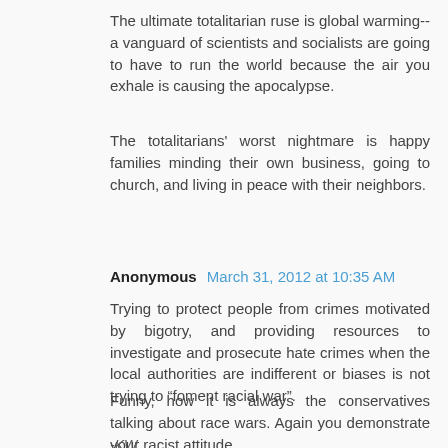The ultimate totalitarian ruse is global warming-- a vanguard of scientists and socialists are going to have to run the world because the air you exhale is causing the apocalypse.
The totalitarians' worst nightmare is happy families minding their own business, going to church, and living in peace with their neighbors.
Anonymous March 31, 2012 at 10:35 AM
Trying to protect people from crimes motivated by bigotry, and providing resources to investigate and prosecute hate crimes when the local authorities are indifferent or biases is not trying to “foment racial war”.
Funny, how it is always the conservatives talking about race wars. Again you demonstrate your racist attitude.
-KW